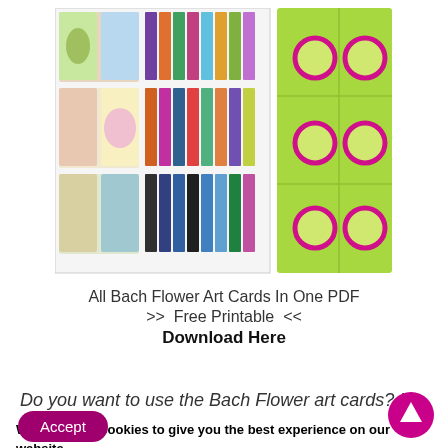[Figure (illustration): Two product images side by side: left shows a grid of colorful Bach Flower art cards in various illustrated designs; right shows a green card template with pink circle/target motifs arranged in a 2x3 grid.]
All Bach Flower Art Cards In One PDF
>>  Free Printable  <<
Download Here
Do you want to use the Bach Flower art cards? I
We are using cookies to give you the best experience on our website.
You can find out more about which cookies we are using or switch them off in settings.
Accept